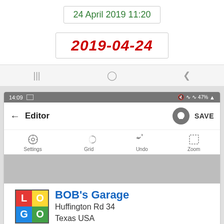24 April 2019 11:20
2019-04-24
[Figure (screenshot): Mobile app screenshot showing an Editor interface with toolbar (Settings, Grid, Undo, Zoom), a business card for BOB's Garage at Huffington Rd 34, Texas USA with a colorful LOGO placeholder]
BOB's Garage
Huffington Rd 34
Texas USA